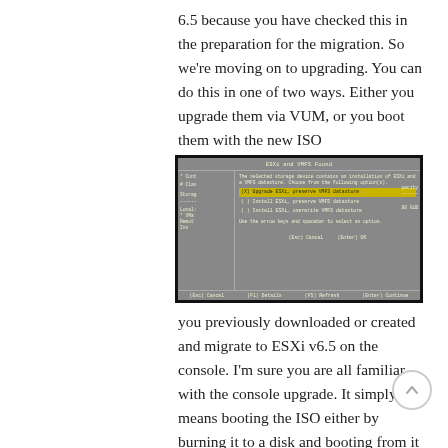6.5 because you have checked this in the preparation for the migration. So we're moving on to upgrading. You can do this in one of two ways. Either you upgrade them via VUM, or you boot them with the new ISO
[Figure (screenshot): ESXi installer screenshot showing 'ESXi and VMFS Found' dialog with options: (X) Upgrade ESXi, preserve VMFS datastore (highlighted in yellow), ( ) Install ESXi, preserve VMFS datastore, ( ) Install ESXi, overwrite VMFS datastore. Bottom bar shows (Esc) Cancel, (F1) Details, (F5) Refresh, (Enter) Continue.]
you previously downloaded or created and migrate to ESXi v6.5 on the console. I'm sure you are all familiar with the console upgrade. It simply means booting the ISO either by burning it to a disk and booting from it or using some form of IPMI/ILO/iDRAC or other